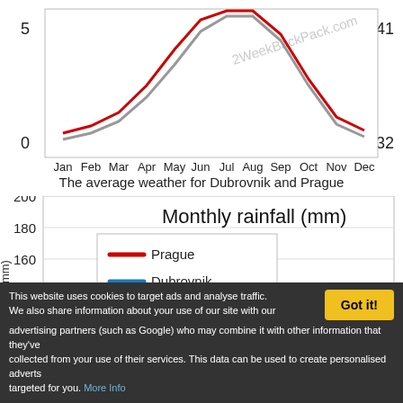[Figure (continuous-plot): Top portion of a line chart showing average temperature for Dubrovnik and Prague by month (Jan-Dec). Y-axis left: 0 to 5, Y-axis right: 32 to 41. Red line (Dubrovnik) peaks in summer, gray line (Prague) also shown. Watermark: 2WeekBackPack.com]
The average weather for Dubrovnik and Prague
[Figure (line-chart): Line chart showing monthly rainfall (mm) for Prague (red) and Dubrovnik (blue/gray). Y-axis from ~80 to 200mm visible. Dubrovnik peaks around 140mm in Nov, Prague relatively flat around 90-100mm. Chart is cropped at bottom.]
This website uses cookies to target ads and analyse traffic. We also share information about your use of our site with our advertising partners (such as Google) who may combine it with other information that they've collected from your use of their services. This data can be used to create personalised adverts targeted for you. More Info